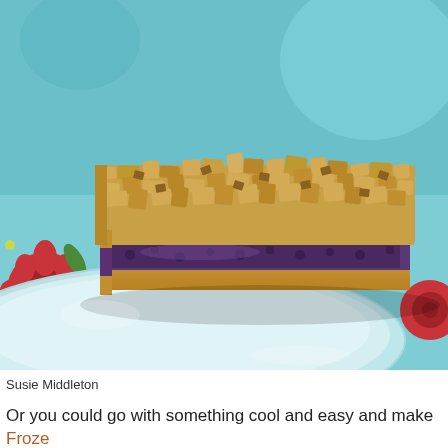[Figure (photo): A blueberry crumble bar with golden oat-nut topping sitting on a light blue ceramic plate, placed on a colorful floral patterned tablecloth with red flowers and teal background]
Susie Middleton
Or you could go with something cool and easy and make Froze